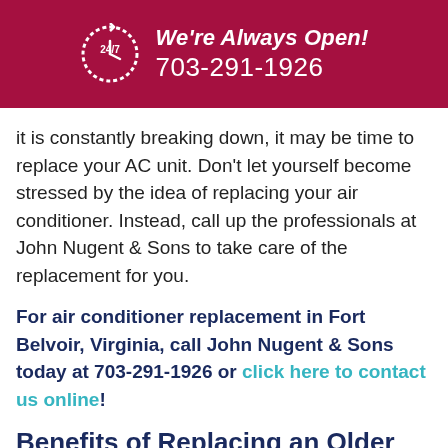We're Always Open! 703-291-1926
it is constantly breaking down, it may be time to replace your AC unit. Don't let yourself become stressed by the idea of replacing your air conditioner. Instead, call up the professionals at John Nugent & Sons to take care of the replacement for you.
For air conditioner replacement in Fort Belvoir, Virginia, call John Nugent & Sons today at 703-291-1926 or click here to contact us online!
Benefits of Replacing an Older AC